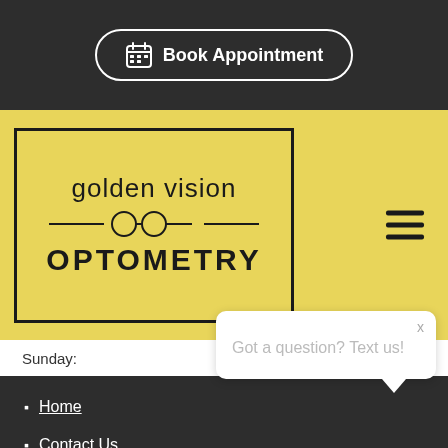[Figure (screenshot): Book Appointment button with calendar icon on dark background]
[Figure (logo): Golden Vision Optometry logo in yellow box with glasses icon]
Sunday:   Closed
Home
Contact Us
What's New
Disclaimer
[Figure (other): Chat popup with text 'Got a question? Text us!' and close button]
[Figure (other): Dark chat icon circle button]